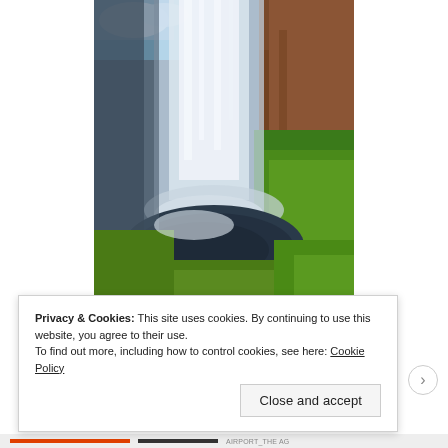[Figure (photo): A waterfall photographed from behind or below, with cascading white water in the center, dark rocky pool at the bottom, blue sky visible at top left, and lush green moss-covered rock walls on the right side.]
Privacy & Cookies: This site uses cookies. By continuing to use this website, you agree to their use.
To find out more, including how to control cookies, see here: Cookie Policy
Close and accept